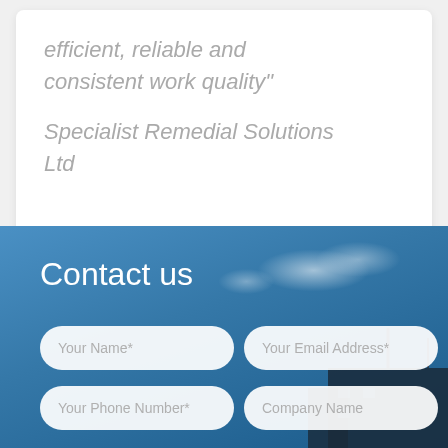efficient, reliable and consistent work quality"
Specialist Remedial Solutions Ltd
Contact us
Your Name*
Your Email Address*
Your Phone Number*
Company Name